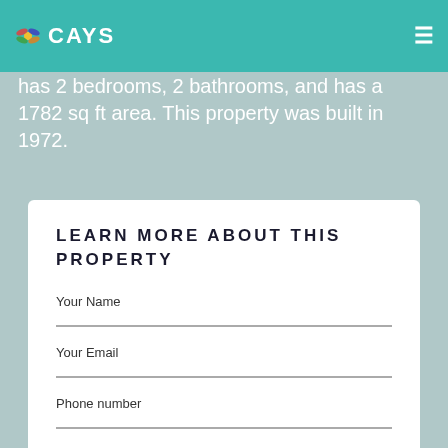CAYS
has 2 bedrooms, 2 bathrooms, and has a 1782 sq ft area. This property was built in 1972.
LEARN MORE ABOUT THIS PROPERTY
Your Name
Your Email
Phone number
Hi, I`m interested in the property. Please send me more information about it. Thank you!